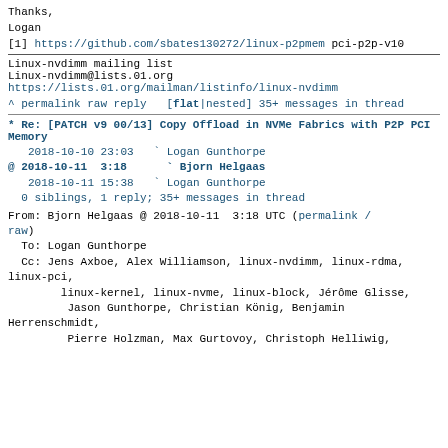Thanks,
Logan
[1] https://github.com/sbates130272/linux-p2pmem pci-p2p-v10
Linux-nvdimm mailing list
Linux-nvdimm@lists.01.org
https://lists.01.org/mailman/listinfo/linux-nvdimm
^ permalink raw reply   [flat|nested] 35+ messages in thread
* Re: [PATCH v9 00/13] Copy Offload in NVMe Fabrics with P2P PCI Memory
2018-10-10 23:03  ` Logan Gunthorpe
@ 2018-10-11  3:18    ` Bjorn Helgaas
  2018-10-11 15:38    ` Logan Gunthorpe
  0 siblings, 1 reply; 35+ messages in thread
From: Bjorn Helgaas @ 2018-10-11  3:18 UTC (permalink / raw)
  To: Logan Gunthorpe
  Cc: Jens Axboe, Alex Williamson, linux-nvdimm, linux-rdma, linux-pci,
        linux-kernel, linux-nvme, linux-block, Jérôme Glisse,
        Jason Gunthorpe, Christian König, Benjamin Herrenschmidt,
        Pierre Holzman, Max Gurtovoy, Christoph Hellwig,